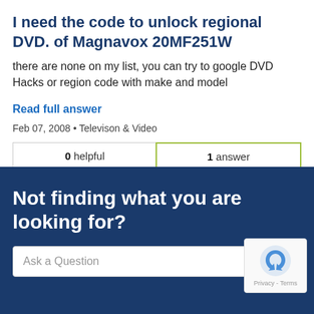I need the code to unlock regional DVD. of Magnavox 20MF251W
there are none on my list, you can try to google DVD Hacks or region code with make and model
Read full answer
Feb 07, 2008 • Televison & Video
| 0 helpful | 1 answer |
| --- | --- |
Not finding what you are looking for?
Ask a Question